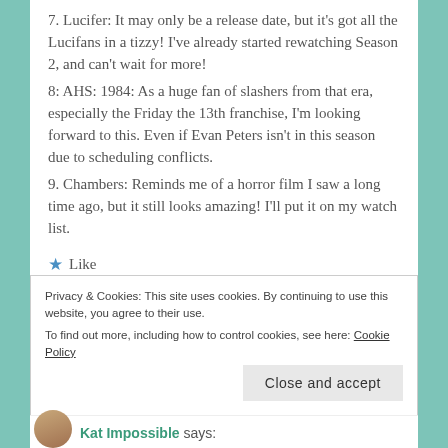7. Lucifer: It may only be a release date, but it’s got all the Lucifans in a tizzy! I’ve already started rewatching Season 2, and can’t wait for more!
8: AHS: 1984: As a huge fan of slashers from that era, especially the Friday the 13th franchise, I’m looking forward to this. Even if Evan Peters isn’t in this season due to scheduling conflicts.
9. Chambers: Reminds me of a horror film I saw a long time ago, but it still looks amazing! I’ll put it on my watch list.
★ Like
Privacy & Cookies: This site uses cookies. By continuing to use this website, you agree to their use.
To find out more, including how to control cookies, see here: Cookie Policy
Close and accept
Kat Impossible says: